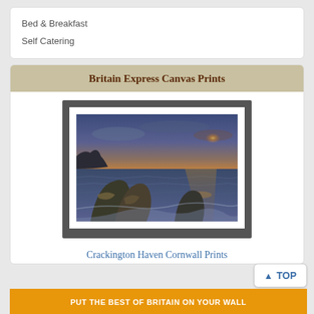Bed & Breakfast
Self Catering
Britain Express Canvas Prints
[Figure (photo): Coastal sunset scene at Crackington Haven Cornwall — foreground rocks in swirling water, dramatic sky with golden sunset glow on the horizon, reflected on the sea]
Crackington Haven Cornwall Prints
PUT THE BEST OF BRITAIN ON YOUR WALL